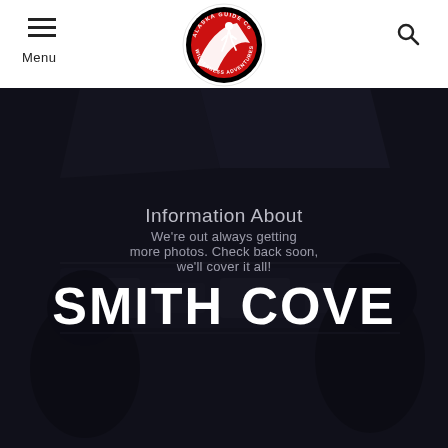Menu | Alaska Guide Co. Wilderness Adventures | Search
[Figure (photo): Dark cockpit interior photo used as hero background image]
Information About
We're out always getting more photos. Check back soon, we'll cover it all!
SMITH COVE